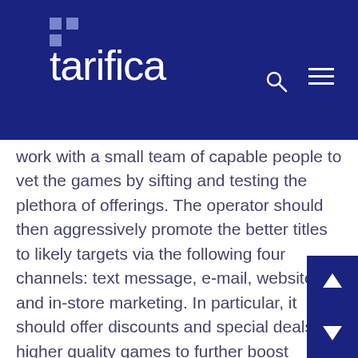tarifica
work with a small team of capable people to vet the games by sifting and testing the plethora of offerings. The operator should then aggressively promote the better titles to likely targets via the following four channels: text message, e-mail, website, and in-store marketing. In particular, it should offer discounts and special deals on higher quality games to further boost demand and revenue. These are relatively low cost initiatives which should generate an attractive ROI. Moreover, we believe that the actual costs associated with such marketing initiatives could be partially or entirely borne by the game manufacturers themselves. In summary, done